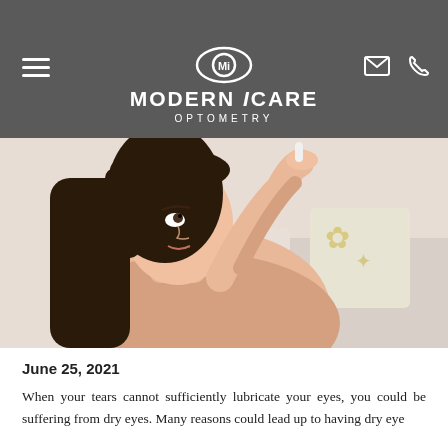MODERN iCARE OPTOMETRY
[Figure (photo): A young Asian woman applying eye drops to her eye, seated on a white couch with decorative pillows in the background.]
June 25, 2021
When your tears cannot sufficiently lubricate your eyes, you could be suffering from dry eyes. Many reasons could lead up to having dry eye